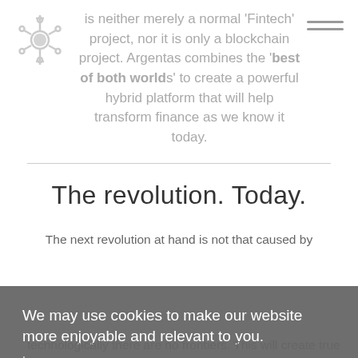[Figure (logo): Argentas snowflake/gear logo in grey]
is neither merely a normal 'Fintech' project, nor it is only a blockchain project. Argentas combines the 'best of both worlds' to create a powerful hybrid platform that will help transform finance as we know it today.
The revolution. Today.
The next revolution at hand is not that caused by ...ther is ...alone. ...f the ...brid ...e the ...out ...y be: technologically there are no frontiers. This will create true end-
We may use cookies to make our website more enjoyable and relevant to you.
Learn more
I ACCEPT    I DECLINE